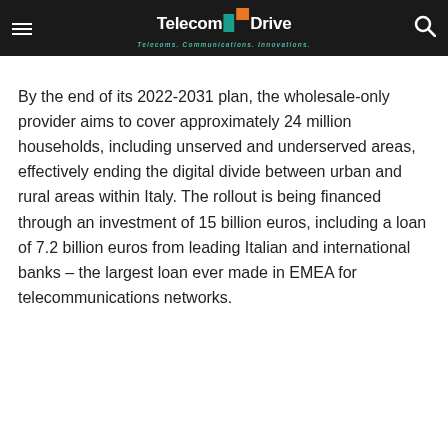TelecomDrive — Telecoms. Communications. Innovations.
By the end of its 2022-2031 plan, the wholesale-only provider aims to cover approximately 24 million households, including unserved and underserved areas, effectively ending the digital divide between urban and rural areas within Italy. The rollout is being financed through an investment of 15 billion euros, including a loan of 7.2 billion euros from leading Italian and international banks – the largest loan ever made in EMEA for telecommunications networks.